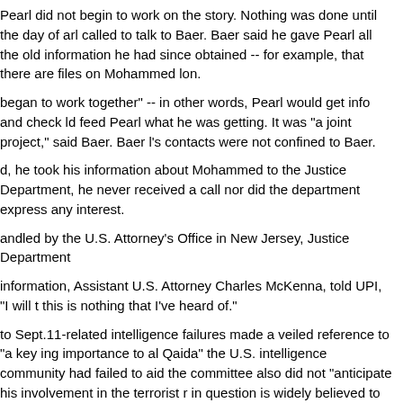Pearl did not begin to work on the story. Nothing was done until the day of arl called to talk to Baer. Baer said he gave Pearl all the old information he had since obtained -- for example, that there are files on Mohammed lon.
began to work together" -- in other words, Pearl would get info and check ld feed Pearl what he was getting. It was "a joint project," said Baer. Baer l's contacts were not confined to Baer.
d, he took his information about Mohammed to the Justice Department, he never received a call nor did the department express any interest.
andled by the U.S. Attorney's Office in New Jersey, Justice Department
information, Assistant U.S. Attorney Charles McKenna, told UPI, "I will t this is nothing that I've heard of."
to Sept.11-related intelligence failures made a veiled reference to "a key ing importance to al Qaida" the U.S. intelligence community had failed to aid the committee also did not "anticipate his involvement in the terrorist r in question is widely believed to be Mohammed.
Only Together May We Find The Truth JG